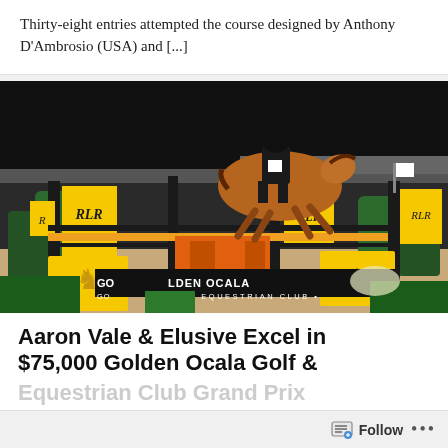Thirty-eight entries attempted the course designed by Anthony D’Ambrosio (USA) and [...]
[Figure (photo): A rider in black jacket and helmet on a chestnut horse jumping over a colorful fence at night at Golden Ocala Golf & Equestrian Club, with yellow decorative panels bearing 'RLR' insignia and golden heraldic lion designs, and a black banner reading 'GOLDEN OCALA GOLF & EQUESTRIAN CLUB']
Aaron Vale & Elusive Excel in $75,000 Golden Ocala Golf & Equestrian Club Grand Prix